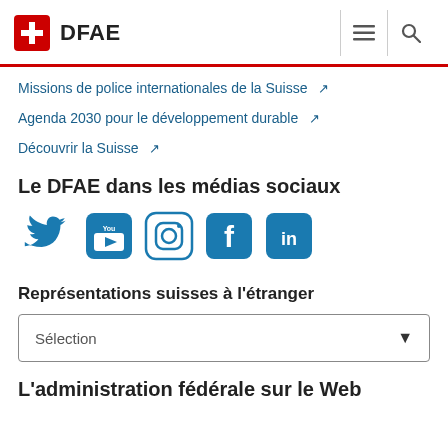DFAE
Missions de police internationales de la Suisse
Agenda 2030 pour le développement durable
Découvrir la Suisse
Le DFAE dans les médias sociaux
[Figure (other): Social media icons: Twitter, YouTube, Instagram, Facebook, LinkedIn]
Représentations suisses à l'étranger
Sélection
L'administration fédérale sur le Web